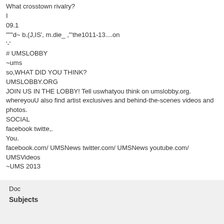What crosstown rivalry?
I
09.1
"""d~ b.(J,IS', m.die_ ,"'the1011-13....on
'-'
# UMSLOBBY
~ums
so,WHAT DID YOU THINK?
UMSLOBBY.ORG
JOIN US IN THE LOBBY! Tell uswhatyou think on umslobby.org. whereyouU also find artist exclusives and behind-the-scenes videos and photos.
SOCIAL
facebook twitte,.
You.
facebook.com/UMSNews twitter.com/UMSNews youtube.com/UMSVideos
~UMS 2013
Download PDF
Doc
Subjects